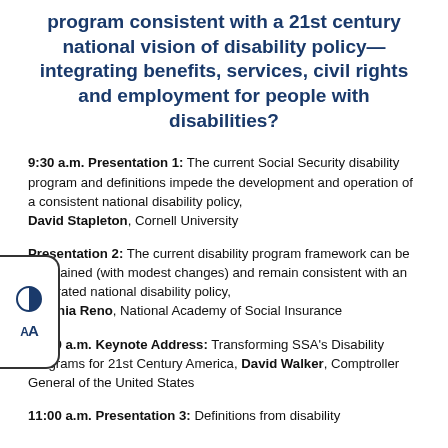program consistent with a 21st century national vision of disability policy—integrating benefits, services, civil rights and employment for people with disabilities?
9:30 a.m. Presentation 1: The current Social Security disability program and definitions impede the development and operation of a consistent national disability policy, David Stapleton, Cornell University
Presentation 2: The current disability program framework can be maintained (with modest changes) and remain consistent with an integrated national disability policy, Virginia Reno, National Academy of Social Insurance
10:30 a.m. Keynote Address: Transforming SSA's Disability Programs for 21st Century America, David Walker, Comptroller General of the United States
11:00 a.m. Presentation 3: Definitions from disability